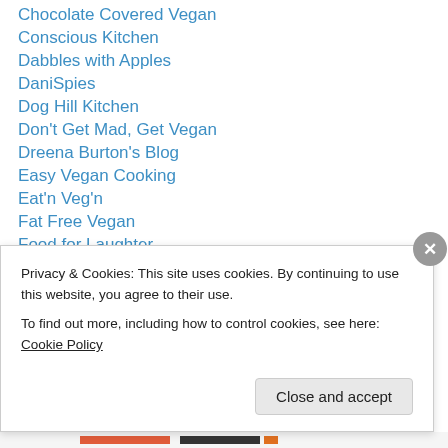Chocolate Covered Vegan
Conscious Kitchen
Dabbles with Apples
DaniSpies
Dog Hill Kitchen
Don't Get Mad, Get Vegan
Dreena Burton's Blog
Easy Vegan Cooking
Eat'n Veg'n
Fat Free Vegan
Food for Laughter
Fran's House of Ayurveda
Ginger Lemon Girl
Privacy & Cookies: This site uses cookies. By continuing to use this website, you agree to their use. To find out more, including how to control cookies, see here: Cookie Policy
Close and accept